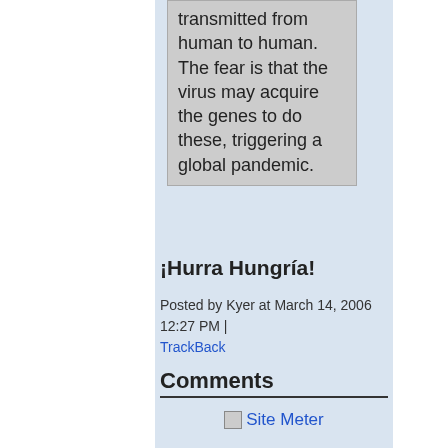transmitted from human to human. The fear is that the virus may acquire the genes to do these, triggering a global pandemic.
¡Hurra Hungría!
Posted by Kyer at March 14, 2006 12:27 PM | TrackBack
Comments
[Figure (other): Site Meter logo/link image]